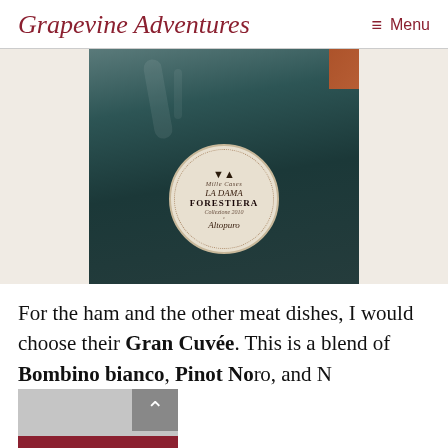Grapevine Adventures   ≡ Menu
[Figure (photo): Photo of the bottom portion of a dark wine bottle with a circular cream-colored label reading 'La Dama Forestiera' with a logo, subtitle, vintage year, and signature.]
For the ham and the other meat dishes, I would choose their Gran Cuvée. This is a blend of Bombino bianco, Pinot Nero, and N...